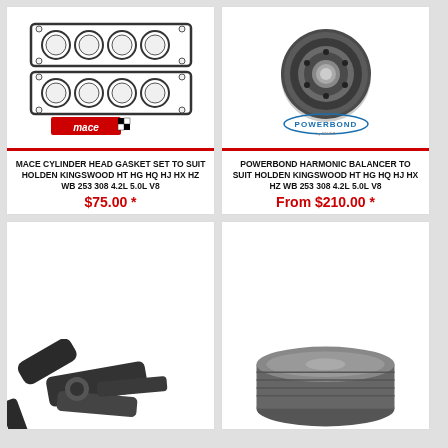[Figure (photo): Mace cylinder head gasket set — two flat multi-hole gaskets with Mace logo]
MACE CYLINDER HEAD GASKET SET TO SUIT HOLDEN KINGSWOOD HT HG HQ HJ HX HZ WB 253 308 4.2L 5.0L V8
$75.00 *
[Figure (photo): Powerbond harmonic balancer — circular heavy disc with center hub, Powerbond by Dayco logo]
POWERBOND HARMONIC BALANCER TO SUIT HOLDEN KINGSWOOD HT HG HQ HJ HX HZ WB 253 308 4.2L 5.0L V8
From $210.00 *
[Figure (photo): Dark metal engine component (appears to be a rocker arm or bracket), partially visible at bottom left]
[Figure (photo): Cylindrical metallic engine part (appears to be a roller or cam follower), partially visible at bottom right]